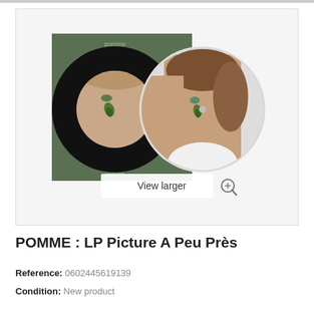[Figure (photo): Product image of POMME LP Picture A Peu Près vinyl record. Shows album cover (green background with black vinyl circle, woman's face visible through the hole) alongside a picture disc vinyl record showing a woman's portrait. A 'View larger' button with zoom icon is overlaid at the bottom.]
POMME : LP Picture A Peu Près
Reference: 0602445619139
Condition: New product